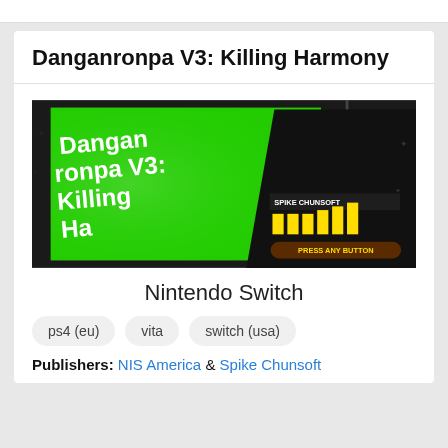Danganronpa V3: Killing Harmony
[Figure (screenshot): Screenshot of Danganronpa V3: Killing Harmony title screen on Nintendo Switch, showing the game logo in stylized text on a green background with a dark silhouetted figure and yellow bar graphics, with 'PRESS ANY BUTTON' prompt visible.]
Nintendo Switch
ps4 (eu)
vita
switch (usa)
Publishers: NIS America & Spike Chunsoft